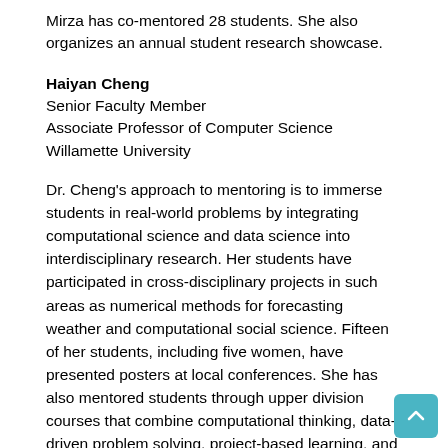Mirza has co-mentored 28 students. She also organizes an annual student research showcase.
Haiyan Cheng
Senior Faculty Member
Associate Professor of Computer Science
Willamette University
Dr. Cheng's approach to mentoring is to immerse students in real-world problems by integrating computational science and data science into interdisciplinary research. Her students have participated in cross-disciplinary projects in such areas as numerical methods for forecasting weather and computational social science. Fifteen of her students, including five women, have presented posters at local conferences. She has also mentored students through upper division courses that combine computational thinking, data-driven problem solving, project-based learning, and research.